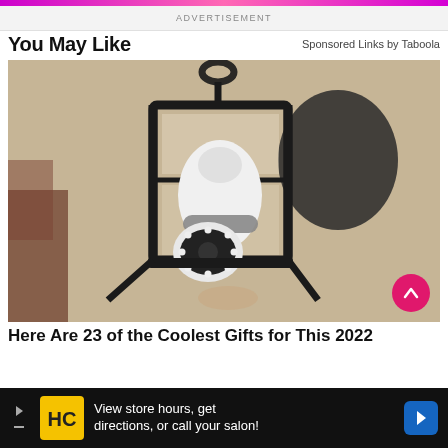ADVERTISEMENT
You May Like
Sponsored Links by Taboola
[Figure (photo): A black lantern-style wall light fixture with a white security camera bulb installed inside it, mounted against a textured stucco wall. A pink circle scroll-to-top button is visible in the bottom right corner.]
Here Are 23 of the Coolest Gifts for This 2022
View store hours, get directions, or call your salon!